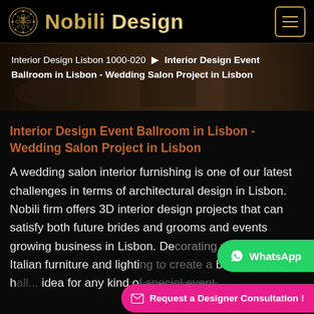Nobili Design
[Figure (screenshot): Hero banner image showing luxury interior with breadcrumb navigation: Interior Design Lisbon 1000-020 → Interior Design Event Ballroom in Lisbon - Wedding Salon Project in Lisbon]
Interior Design Event Ballroom in Lisbon - Wedding Salon Project in Lisbon
A wedding salon interior furnishing is one of our latest challenges in terms of architectural design in Lisbon. Nobili firm offers 3D interior design projects that can satisfy both future brides and grooms and events growing business in Lisbon. Decorating with qualitative Italian furniture and lighting to create a beautiful event hall... idea for any kind of special event.